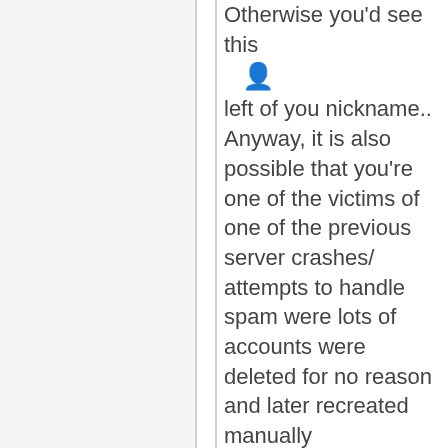Otherwise you'd see this 👤 left of you nickname..

Anyway, it is also possible that you're one of the victims of one of the previous server crashes/attempts to handle spam were lots of accounts were deleted for no reason and later recreated manually